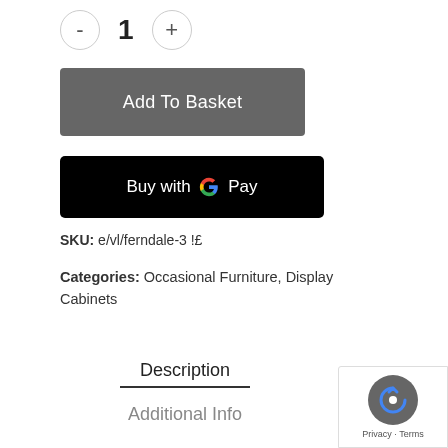- 1 +
[Figure (other): Add To Basket button — dark grey rounded rectangle with white text]
[Figure (other): Buy with Google Pay button — black rounded rectangle with white text and Google G logo]
SKU: e/vl/ferndale-3 !£
Categories: Occasional Furniture, Display Cabinets
Description
Additional Info
[Figure (other): reCAPTCHA badge in bottom-right corner with grey circle icon and Privacy · Terms text]